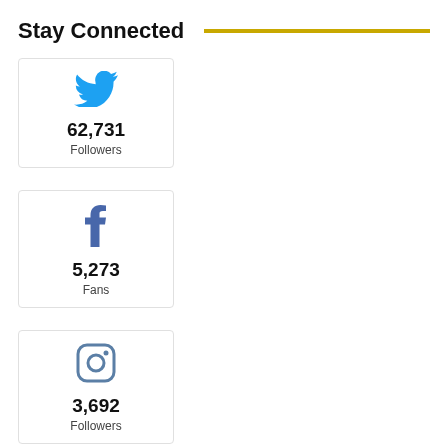Stay Connected
[Figure (infographic): Twitter card with bird icon, showing 62,731 Followers]
[Figure (infographic): Facebook card with f icon, showing 5,273 Fans]
[Figure (infographic): Instagram card with camera icon, showing 3,692 Followers]